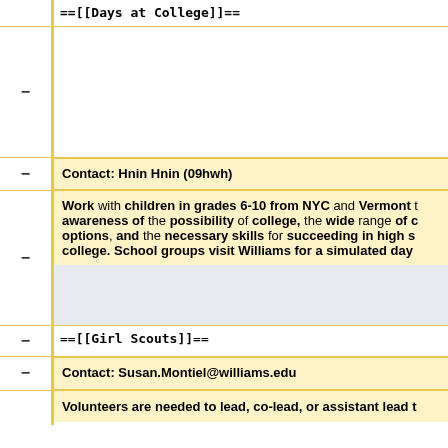==[[Days at College]]==
Contact: Hnin Hnin (09hwh)
Work with children in grades 6-10 from NYC and Vermont to build awareness of the possibility of college, the wide range of college options, and the necessary skills for succeeding in high school and college. School groups visit Williams for a simulated day
==[[Girl Scouts]]==
Contact: Susan.Montiel@williams.edu
Volunteers are needed to lead, co-lead, or assistant lead t